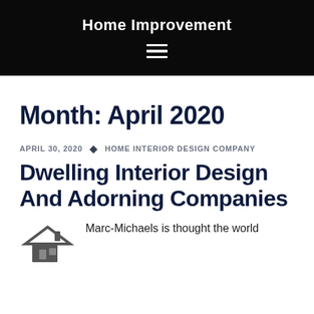Home Improvement
Month: April 2020
APRIL 30, 2020 • HOME INTERIOR DESIGN COMPANY
Dwelling Interior Design And Adorning Companies
Marc-Michaels is thought the world